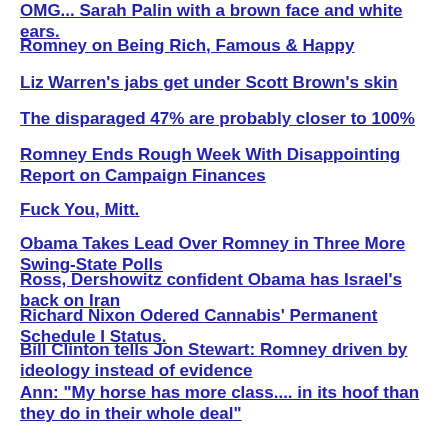OMG... Sarah Palin with a brown face and white ears.
Romney on Being Rich, Famous & Happy
Liz Warren's jabs get under Scott Brown's skin
The disparaged 47% are probably closer to 100%
Romney Ends Rough Week With Disappointing Report on Campaign Finances
Fuck You, Mitt.
Obama Takes Lead Over Romney in Three More Swing-State Polls
Ross, Dershowitz confident Obama has Israel's back on Iran
Richard Nixon Odered Cannabis' Permanent Schedule I Status.
Bill Clinton tells Jon Stewart: Romney driven by ideology instead of evidence
Ann: "My horse has more class.... in its hoof than they do in their whole deal"
Tommy Thompson Blames Romney for His Plummet in the Polls
South Korea fires on North Korean fishing boats
Who was Dumbass trying to fool?
Epic Gallery: 150 Years Of Lesbians And Other Lady-Loving-Ladies